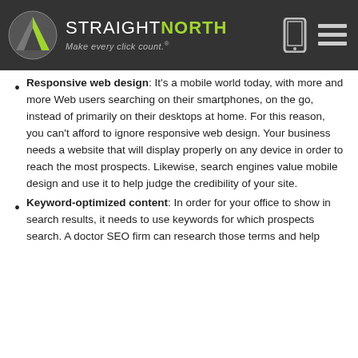STRAIGHT NORTH Make every click count.®
Responsive web design: It's a mobile world today, with more and more Web users searching on their smartphones, on the go, instead of primarily on their desktops at home. For this reason, you can't afford to ignore responsive web design. Your business needs a website that will display properly on any device in order to reach the most prospects. Likewise, search engines value mobile design and use it to help judge the credibility of your site.
Keyword-optimized content: In order for your office to show in search results, it needs to use keywords for which prospects search. A doctor SEO firm can research those terms and help